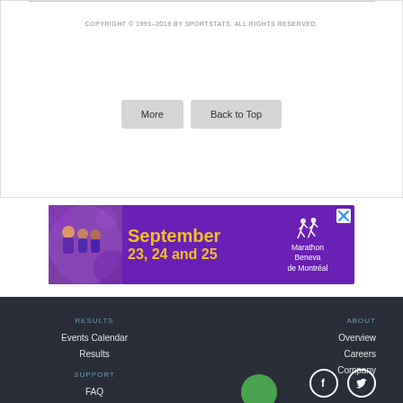COPYRIGHT © 1991–2019 BY SPORTSTATS. ALL RIGHTS RESERVED.
More | Back to Top
[Figure (illustration): Advertisement banner for Marathon Beneva de Montréal, September 23, 24 and 25, with purple background, runners photo on left, yellow text in center, runners icon and marathon logo on right. Has a close (X) button.]
RESULTS
Events Calendar
Results
ABOUT
Overview
Careers
Company
SUPPORT
FAQ
Contact